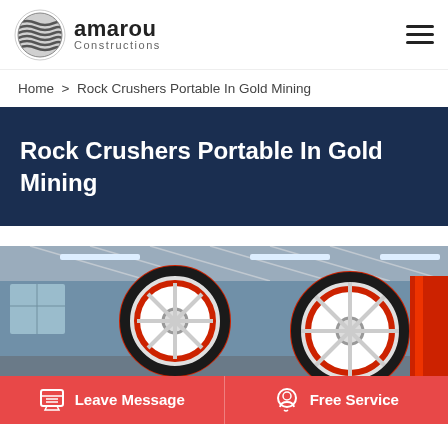[Figure (logo): Amarou Constructions logo with layered wave icon]
amarou Constructions
Home > Rock Crushers Portable In Gold Mining
Rock Crushers Portable In Gold Mining
[Figure (photo): Industrial mining machinery with large red and white wheels/pulleys inside a factory building]
Leave Message
Free Service